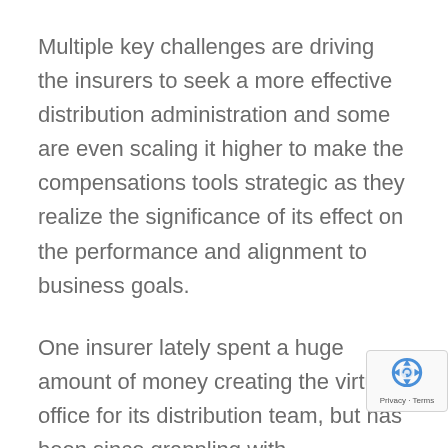Multiple key challenges are driving the insurers to seek a more effective distribution administration and some are even scaling it higher to make the compensations tools strategic as they realize the significance of its effect on the performance and alignment to business goals.
One insurer lately spent a huge amount of money creating the virtual office for its distribution team, but has been since grappling with reconciliations of the data which were hitherto handled with end of day extracts. The policy issuance/ premium records and add on scripts written in data / analytic tools were grappling with multiple errors on the computed payouts. What seemed to have been overlooked has